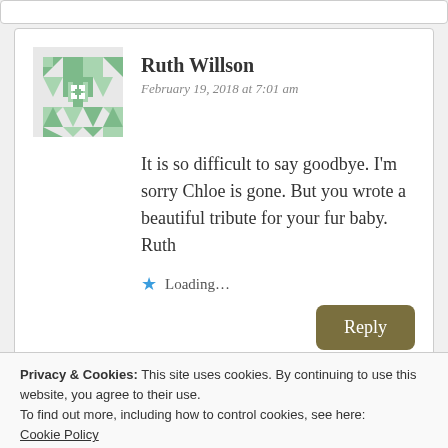Ruth Willson
February 19, 2018 at 7:01 am
It is so difficult to say goodbye. I'm sorry Chloe is gone. But you wrote a beautiful tribute for your fur baby. Ruth
Loading...
Reply
Privacy & Cookies: This site uses cookies. By continuing to use this website, you agree to their use.
To find out more, including how to control cookies, see here:
Cookie Policy
Close and accept
on anyone. But wait! Maybe I do!